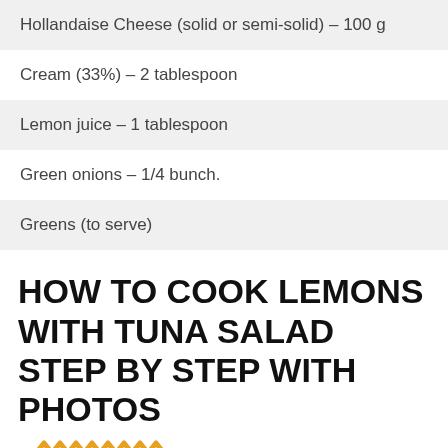Hollandaise Cheese (solid or semi-solid) – 100 g
Cream (33%) – 2 tablespoon
Lemon juice – 1 tablespoon
Green onions – 1/4 bunch.
Greens (to serve)
HOW TO COOK LEMONS WITH TUNA SALAD STEP BY STEP WITH PHOTOS